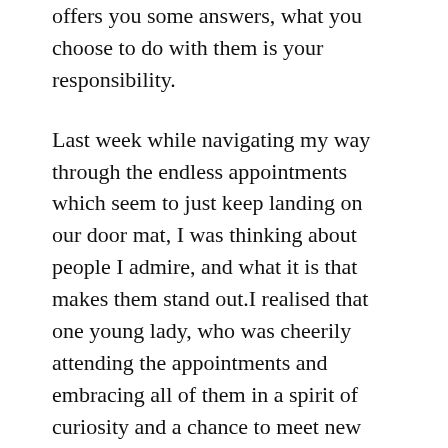offers you some answers, what you choose to do with them is your responsibility.
Last week while navigating my way through the endless appointments which seem to just keep landing on our door mat, I was thinking about people I admire, and what it is that makes them stand out.I realised that one young lady, who was cheerily attending the appointments and embracing all of them in a spirit of curiosity and a chance to meet new people, had a better general attitude to life than I did, and wondered what I could learn from her.
I bring you (insert fanfare)  Pearlfulness TM *